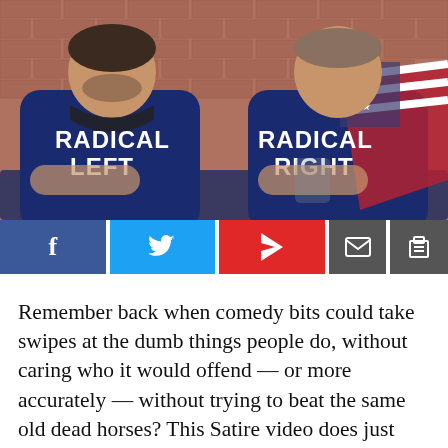[Figure (photo): Two men sitting side by side against a brick wall. The man on the left wears a navy blue t-shirt reading 'RADICAL LEFT' and a black bandana around his neck. The man on the right wears a navy blue t-shirt reading 'RADICAL RIGHT' and has an American flag draped over his shoulders.]
[Figure (infographic): Social sharing buttons row: Facebook (dark blue, 'f'), Twitter (light blue, bird icon), Flipboard (red, 'r' icon), Email (dark gray, envelope icon), Print (dark gray, printer icon)]
Remember back when comedy bits could take swipes at the dumb things people do, without caring who it would offend — or more accurately — without trying to beat the same old dead horses? This Satire video does just that.